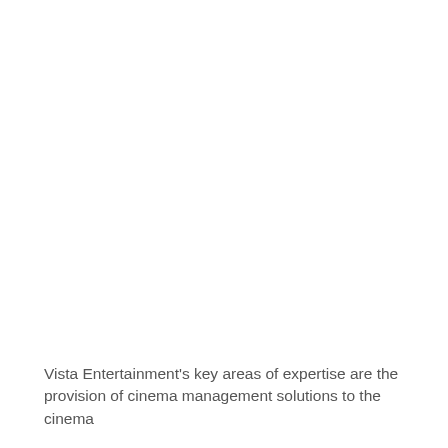Vista Entertainment's key areas of expertise are the provision of cinema management solutions to the cinema